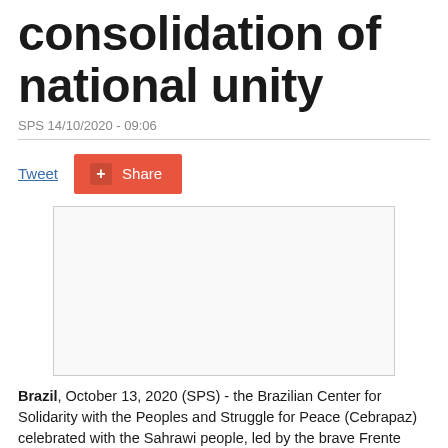consolidation of national unity
SPS 14/10/2020 - 09:06
Tweet
Share
[Figure (photo): Image placeholder with border, no content visible]
Brazil, October 13, 2020 (SPS) - the Brazilian Center for Solidarity with the Peoples and Struggle for Peace (Cebrapaz) celebrated with the Sahrawi people, led by the brave Frente POLISARIO, the 45th anniversary of the consolidation of national unity in its strategy of